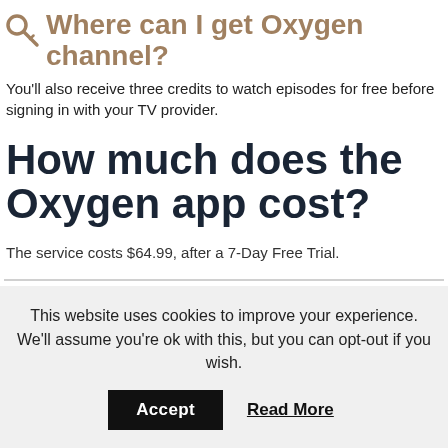Where can I get Oxygen channel?
You'll also receive three credits to watch episodes for free before signing in with your TV provider.
How much does the Oxygen app cost?
The service costs $64.99, after a 7-Day Free Trial.
This website uses cookies to improve your experience. We'll assume you're ok with this, but you can opt-out if you wish.